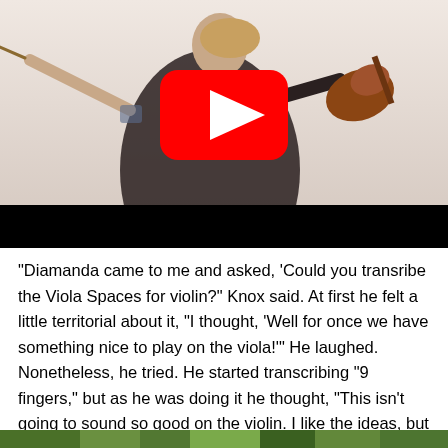[Figure (screenshot): Video thumbnail showing a woman playing violin with a YouTube play button overlay and a black bar at the bottom]
"Diamanda came to me and asked, 'Could you transribe the Viola Spaces for violin?" Knox said. At first he felt a little territorial about it, "I thought, 'Well for once we have something nice to play on the viola!'" He laughed. Nonetheless, he tried. He started transcribing "9 fingers," but as he was doing it he thought, "This isn't going to sound so good on the violin. I like the ideas, but I think I could write another piece for violin, with these ideas."
[Figure (photo): Partial green outdoor/nature photo strip at the bottom of the page]